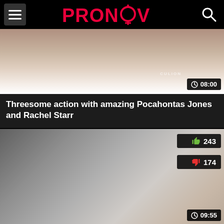PRONOOV - navigation header with menu and search icons
[Figure (screenshot): Video thumbnail showing bedroom scene with white sheets]
CULION
08:00
Threesome action with amazing Pocahontas Jones and Rachel Starr
[Figure (screenshot): Video thumbnail showing woman performing oral sex]
243
174
09:55